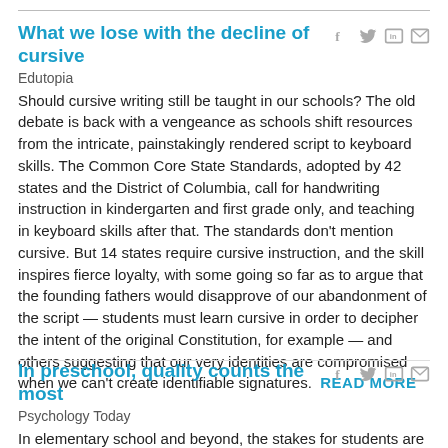What we lose with the decline of cursive
Edutopia
Should cursive writing still be taught in our schools? The old debate is back with a vengeance as schools shift resources from the intricate, painstakingly rendered script to keyboard skills. The Common Core State Standards, adopted by 42 states and the District of Columbia, call for handwriting instruction in kindergarten and first grade only, and teaching in keyboard skills after that. The standards don't mention cursive. But 14 states require cursive instruction, and the skill inspires fierce loyalty, with some going so far as to argue that the founding fathers would disapprove of our abandonment of the script — students must learn cursive in order to decipher the intent of the original Constitution, for example — and others suggesting that our very identities are compromised when we can't create identifiable signatures.  READ MORE
In preschool, quality counts the most
Psychology Today
In elementary school and beyond, the stakes for students are